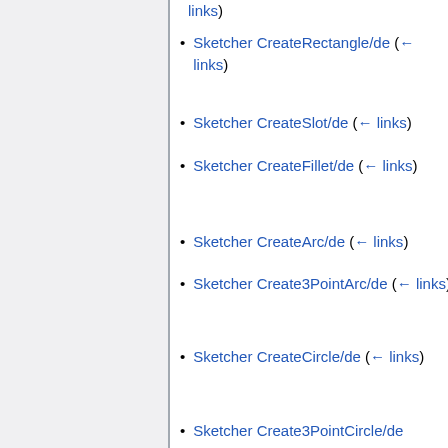links)
Sketcher CreateRectangle/de  (← links)
Sketcher CreateSlot/de  (← links)
Sketcher CreateFillet/de  (← links)
Sketcher CreateArc/de  (← links)
Sketcher Create3PointArc/de  (← links)
Sketcher CreateCircle/de  (← links)
Sketcher Create3PointCircle/de  (← links)
Sketcher CreateTriangle/de  (← links)
Sketcher CreateSquare/de  (← links)
Sketcher CreatePentagon/de  (←